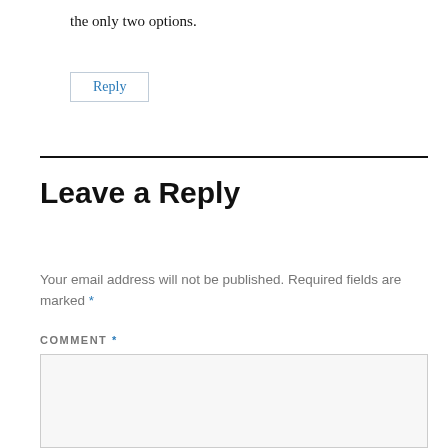the only two options.
Reply
Leave a Reply
Your email address will not be published. Required fields are marked *
COMMENT *